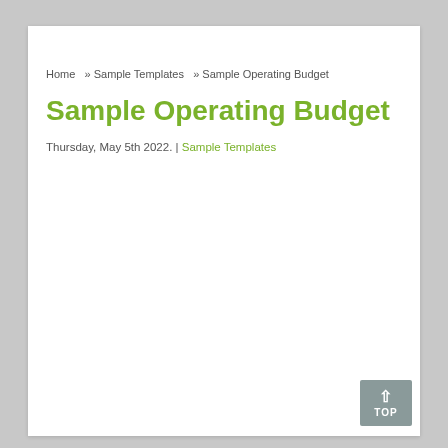Home  »  Sample Templates  »  Sample Operating Budget
Sample Operating Budget
Thursday, May 5th 2022. | Sample Templates